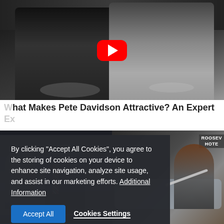[Figure (photo): Two celebrities at a red carpet event, man in dark suit with sunglasses on the left, woman with silver/platinum hair on the right, YouTube play button overlay in center]
What Makes Pete Davidson Attractive? An Expert Ex...
[Figure (photo): Two-panel photo: left shows a TV talk show scene with host and guests, right shows a man in brown leather jacket playing flute on a couch with Roosevelt Hotel sign visible]
By clicking "Accept All Cookies", you agree to the storing of cookies on your device to enhance site navigation, analyze site usage, and assist in our marketing efforts. Additional Information
Accept All   Cookies Settings